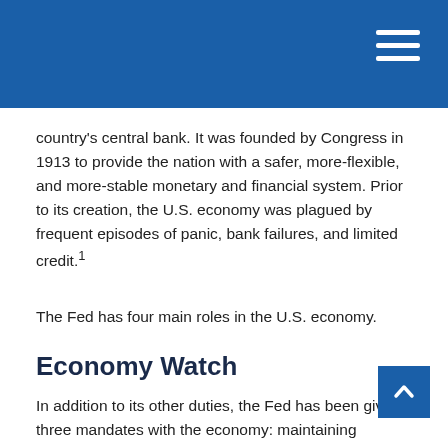country's central bank. It was founded by Congress in 1913 to provide the nation with a safer, more-flexible, and more-stable monetary and financial system. Prior to its creation, the U.S. economy was plagued by frequent episodes of panic, bank failures, and limited credit.1
The Fed has four main roles in the U.S. economy.
Economy Watch
In addition to its other duties, the Fed has been given three mandates with the economy: maintaining maximum employment, maintaining stable price levels, and maintaining moderate, long-term interest rates.1
It's important to remember that the Fed cannot directly control employment, inflation, or long-term interest rates. Rather, it uses a number of tools at its disposal to influe…